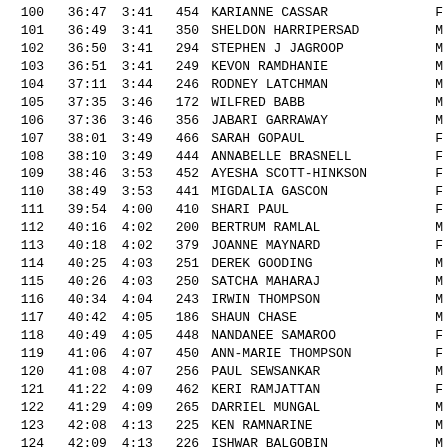| Rank | Time | Pace | Bib | Name | Sex |
| --- | --- | --- | --- | --- | --- |
| 100 | 36:47 | 3:41 | 454 | KARIANNE CASSAR | F |
| 101 | 36:49 | 3:41 | 350 | SHELDON HARRIPERSAD | M |
| 102 | 36:50 | 3:41 | 294 | STEPHEN J JAGROOP | M |
| 103 | 36:51 | 3:41 | 249 | KEVON RAMDHANIE | M |
| 104 | 37:11 | 3:44 | 246 | RODNEY LATCHMAN | M |
| 105 | 37:35 | 3:46 | 172 | WILFRED BABB | M |
| 106 | 37:36 | 3:46 | 356 | JABARI GARRAWAY | M |
| 107 | 38:01 | 3:49 | 466 | SARAH GOPAUL | F |
| 108 | 38:10 | 3:49 | 444 | ANNABELLE BRASNELL | F |
| 109 | 38:46 | 3:53 | 452 | AYESHA SCOTT-HINKSON | F |
| 110 | 38:49 | 3:53 | 441 | MIGDALIA GASCON | F |
| 111 | 39:54 | 4:00 | 410 | SHARI PAUL | F |
| 112 | 40:16 | 4:02 | 200 | BERTRUM RAMLAL | M |
| 113 | 40:18 | 4:02 | 379 | JOANNE MAYNARD | F |
| 114 | 40:25 | 4:03 | 251 | DEREK GOODING | M |
| 115 | 40:26 | 4:03 | 250 | SATCHA MAHARAJ | M |
| 116 | 40:34 | 4:04 | 243 | IRWIN THOMPSON | M |
| 117 | 40:42 | 4:05 | 186 | SHAUN CHASE | M |
| 118 | 40:49 | 4:05 | 448 | NANDANEE SAMAROO | F |
| 119 | 41:06 | 4:07 | 450 | ANN-MARIE THOMPSON | F |
| 120 | 41:08 | 4:07 | 256 | PAUL SEWSANKAR | M |
| 121 | 41:22 | 4:09 | 462 | KERI RAMJATTAN | F |
| 122 | 41:29 | 4:09 | 265 | DARRIEL MUNGAL | M |
| 123 | 42:08 | 4:13 | 225 | KEN RAMNARINE | M |
| 124 | 42:09 | 4:13 | 226 | ISHWAR BALGOBIN | M |
| 125 | 42:13 | 4:14 | 434 | AVELLINE FELICIAN | F |
| 126 | 42:24 | 4:15 | 455 | MELISSA GUEVARA | F |
| 127 | 42:37 | 4:16 | 438 | CLARE VINCENT | F |
| 128 | 42:53 | 4:18 | 449 | AVIANNE ALI | F |
| 129 | 42:57 | 4:18 | 417 | VANESSA PETERS | F |